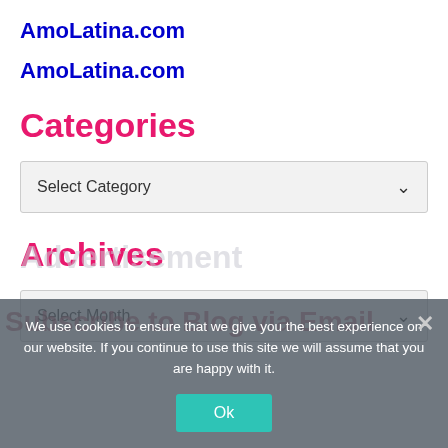AmoLatina.com
AmoLatina.com
Categories
Select Category
Archives
Select Month
Advertisement
Subscribe to Blog via Email
We use cookies to ensure that we give you the best experience on our website. If you continue to use this site we will assume that you are happy with it.
Ok